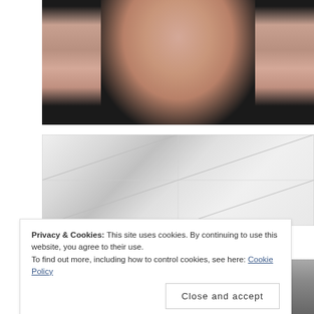[Figure (photo): Close-up photo of a young woman's face and neck against a dark background, wearing a black top]
[Figure (photo): Photo of white tiled wall/bathroom corner with chevron/diagonal tile pattern]
Privacy & Cookies: This site uses cookies. By continuing to use this website, you agree to their use.
To find out more, including how to control cookies, see here: Cookie Policy
Close and accept